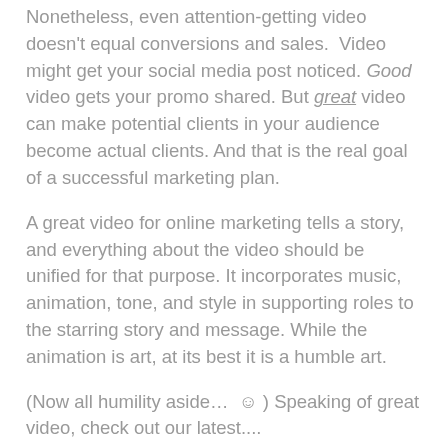Nonetheless, even attention-getting video doesn't equal conversions and sales. Video might get your social media post noticed. Good video gets your promo shared. But great video can make potential clients in your audience become actual clients. And that is the real goal of a successful marketing plan.
A great video for online marketing tells a story, and everything about the video should be unified for that purpose. It incorporates music, animation, tone, and style in supporting roles to the starring story and message. While the animation is art, at its best it is a humble art.
(Now all humility aside…  ☺ ) Speaking of great video, check out our latest....
LJ Wilks Realtor® Coldwell